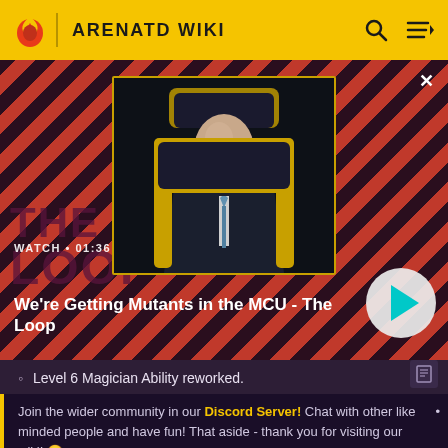ARENATD WIKI
[Figure (screenshot): Video thumbnail showing a bald man in a dark suit seated in a chair, with a red and black diagonal striped background, title 'We're Getting Mutants in the MCU - The Loop', watch time 01:36, and a teal play button]
Level 6 Magician Ability reworked.
Join the wider community in our Discord Server! Chat with other like minded people and have fun! That aside - thank you for visiting our wiki! 🙂